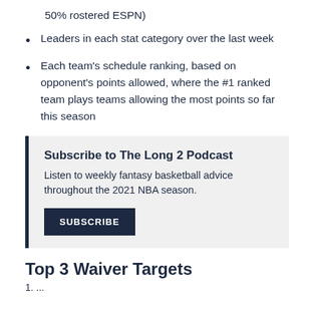50% rostered ESPN)
Leaders in each stat category over the last week
Each team's schedule ranking, based on opponent's points allowed, where the #1 ranked team plays teams allowing the most points so far this season
Subscribe to The Long 2 Podcast
Listen to weekly fantasy basketball advice throughout the 2021 NBA season.
SUBSCRIBE
Top 3 Waiver Targets
1. ...